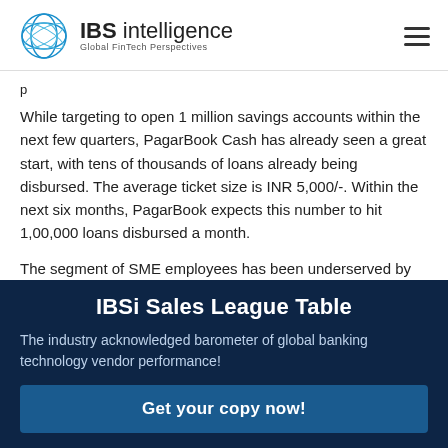IBS intelligence — Global FinTech Perspectives
While targeting to open 1 million savings accounts within the next few quarters, PagarBook Cash has already seen a great start, with tens of thousands of loans already being disbursed. The average ticket size is INR 5,000/-. Within the next six months, PagarBook expects this number to hit 1,00,000 loans disbursed a month.
The segment of SME employees has been underserved by
IBSi Sales League Table
The industry acknowledged barometer of global banking technology vendor performance!
Get your copy now!